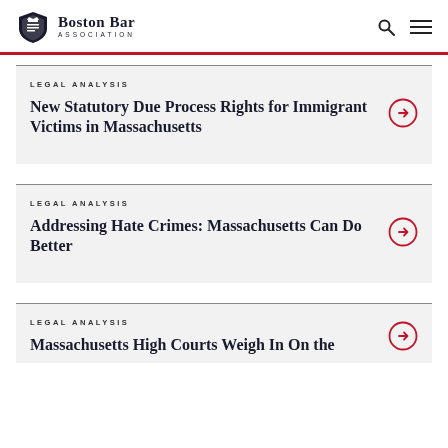Boston Bar Association
LEGAL ANALYSIS – New Statutory Due Process Rights for Immigrant Victims in Massachusetts
LEGAL ANALYSIS – Addressing Hate Crimes: Massachusetts Can Do Better
LEGAL ANALYSIS – Massachusetts High Courts Weigh In On the